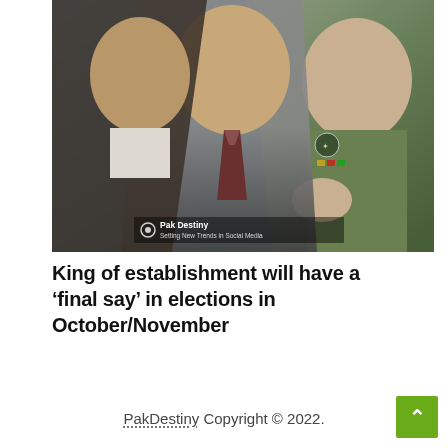[Figure (photo): A composite photo showing three men: on the left a man in a dark suit, in the center a man in a grey suit with a dark tie, and on the right an older man in a military green uniform with medals and insignia. Watermark reads 'Pak Destiny Setting New Trends in Social Media'.]
King of establishment will have a ‘final say’ in elections in October/November
PakDestiny Copyright © 2022.